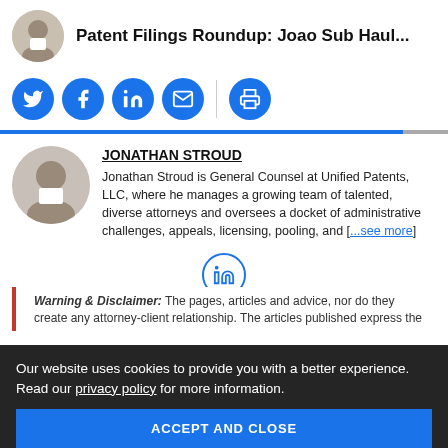Patent Filings Roundup: Joao Sub Haul...
[Figure (other): Row of social sharing icons: Twitter, Facebook, LinkedIn, Email, Print]
JONATHAN STROUD
Jonathan Stroud is General Counsel at Unified Patents, LLC, where he manages a growing team of talented, diverse attorneys and oversees a docket of administrative challenges, appeals, licensing, pooling, and [...see more]
[Figure (logo): LinkedIn outline circle icon]
Our website uses cookies to provide you with a better experience. Read our privacy policy for more information.
ACCEPT AND CLOSE
Warning & Disclaimer: The pages, articles and advice, nor do they create any attorney-client relationship. The articles published express the